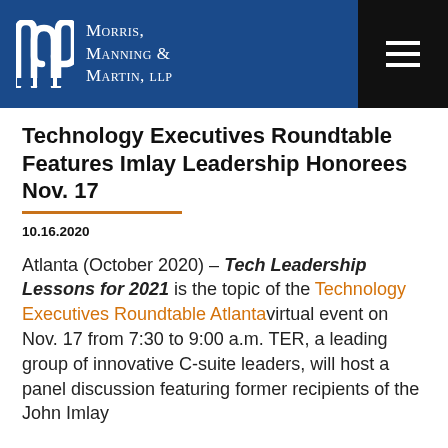Morris, Manning & Martin, LLP
Technology Executives Roundtable Features Imlay Leadership Honorees Nov. 17
10.16.2020
Atlanta (October 2020) – Tech Leadership Lessons for 2021 is the topic of the Technology Executives Roundtable Atlantavirtual event on Nov. 17 from 7:30 to 9:00 a.m. TER, a leading group of innovative C-suite leaders, will host a panel discussion featuring former recipients of the John Imlay